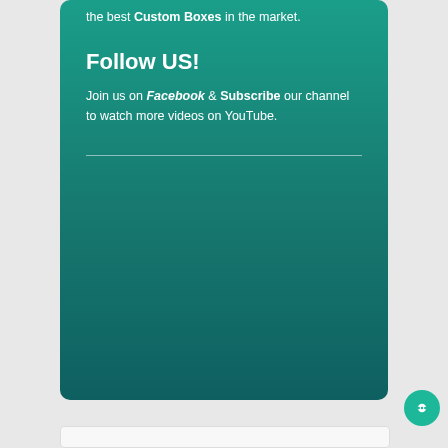the best Custom Boxes in the market.
Follow US!
Join us on Facebook & Subscribe our channel to watch more videos on YouTube.